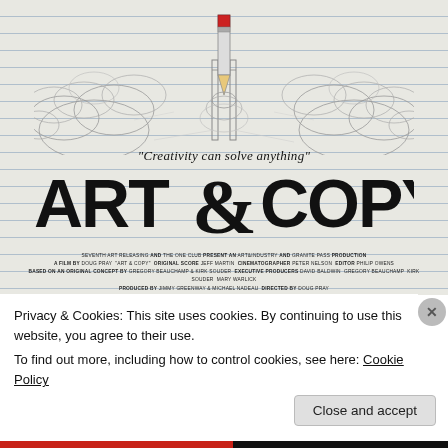[Figure (illustration): Movie poster for 'Art & Copy' documentary. Background is lined notebook paper. Upper portion shows a pencil sketch illustration of a rocket launching with clouds of smoke, with a large red-and-silver pencil/rocket at center. Below is the tagline quote and bold film title logo with decorative ampersand.]
"Creativity can solve anything"
ART & COPY
SEVENTH ART RELEASING and THE ONE CLUB present an ART&INDUSTRY and GRANITE PASS production A FILM BY DOUG PRAY "ART & COPY" ORIGINAL SCORE JEFF MARTIN CINEMATOGRAPHER PETER NELSON EDITOR PHILIP OWENS BASED ON AN ORIGINAL CONCEPT BY GREGORY BEAUCHAMP & KIRK SOUDER EXECUTIVE PRODUCERS DAVID BALDWIN GREGORY BEAUCHAMP KIRK SOUDER MARY WARLICK PRODUCED BY JIMMY GREENWAY & MICHAEL NADEAU DIRECTED BY DOUG PRAY
Privacy & Cookies: This site uses cookies. By continuing to use this website, you agree to their use.
To find out more, including how to control cookies, see here: Cookie Policy
Close and accept